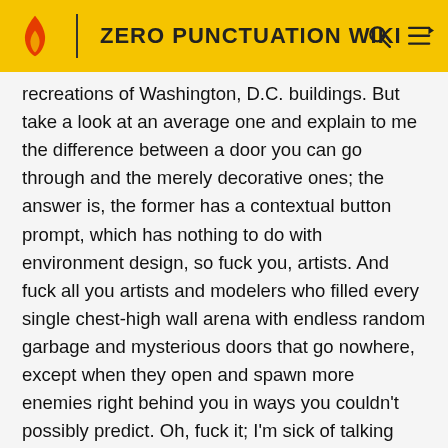ZERO PUNCTUATION WIKI
recreations of Washington, D.C. buildings. But take a look at an average one and explain to me the difference between a door you can go through and the merely decorative ones; the answer is, the former has a contextual button prompt, which has nothing to do with environment design, so fuck you, artists. And fuck all you artists and modelers who filled every single chest-high wall arena with endless random garbage and mysterious doors that go nowhere, except when they open and spawn more enemies right behind you in ways you couldn't possibly predict. Oh, fuck it; I'm sick of talking about this "live service" titwank; I'm going to play Sekiro. FromSoftware hurt me, but they hurt me because they love me, not because it's .7% more profitable than not